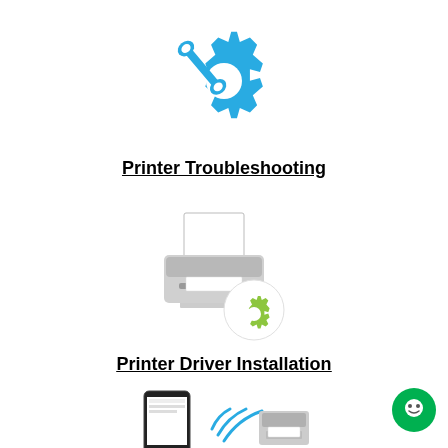[Figure (illustration): Blue gear with wrench icon representing troubleshooting]
Printer Troubleshooting
[Figure (illustration): Printer icon with green gear/settings badge for driver installation]
Printer Driver Installation
[Figure (illustration): Smartphone with wireless printing icon partially visible at bottom]
[Figure (illustration): Green circular chat/support button in bottom-right corner]